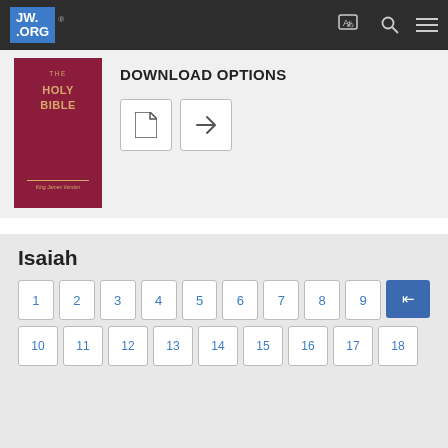[Figure (screenshot): JW.ORG website navigation bar with logo, translation icon, search icon, and menu icon on dark background]
[Figure (illustration): The Holy Bible - King James Version book cover in dark red/maroon with gold text]
DOWNLOAD OPTIONS
[Figure (other): Download buttons: document icon and share icon]
Isaiah
[Figure (other): Chapter number grid showing chapters 1-9 in first row and 10-18 in second row]